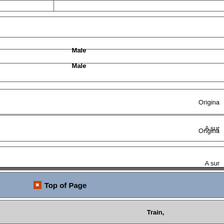| Field | Value |
| --- | --- |
| Genre: |  |
| Parts: | Male |
| Parts other: |  |
| Notes: | Origina... |
| Synopsis: | A sur... |
| Further Reference: |  |
Top of Page
| Author | Work |
| --- | --- |
| MICHEL TREMBLAY | Train,... |
| Field | Value |
| --- | --- |
| 1st Produced: | - - - |
| Organisations: |  |
| 1st Published: | I don't think it has been publis... Playwright or Agent where list... |